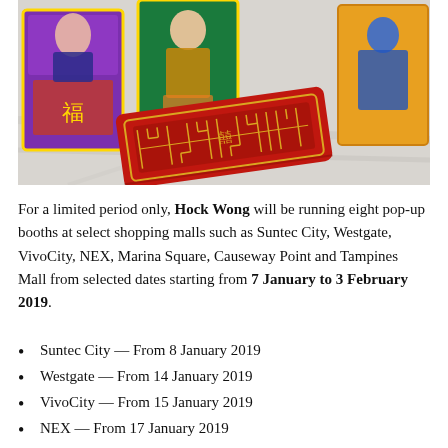[Figure (photo): Chinese New Year decorative items: colorful illustrated gift boxes featuring traditional Chinese characters and a red decorative envelope/wallet with gold geometric patterns, arranged on a marble surface.]
For a limited period only, Hock Wong will be running eight pop-up booths at select shopping malls such as Suntec City, Westgate, VivoCity, NEX, Marina Square, Causeway Point and Tampines Mall from selected dates starting from 7 January to 3 February 2019.
Suntec City — From 8 January 2019
Westgate — From 14 January 2019
VivoCity — From 15 January 2019
NEX — From 17 January 2019